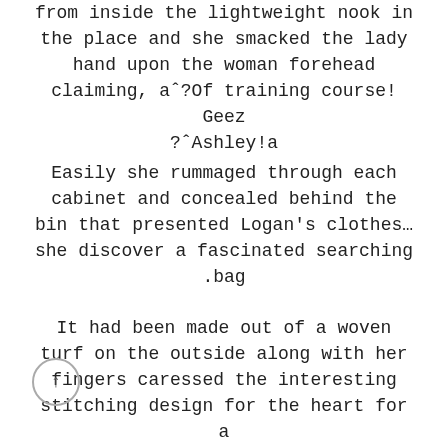from inside the lightweight nook in the place and she smacked the lady hand upon the woman forehead claiming, aˆ?Of training course! Geez ?ˆAshley!a
Easily she rummaged through each cabinet and concealed behind the bin that presented Logan's clothes… she discover a fascinated searching bag.
It had been made out of a woven turf on the outside along with her fingers caressed the interesting stitching design for the heart for a moment. They did actually the girl like some type of budget a surfer would have in his wallet, she doubted it was worth such a thing.